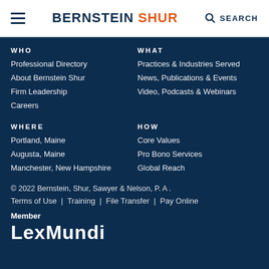BERNSTEIN SHUR | SEARCH
WHO
Professional Directory
About Bernstein Shur
Firm Leadership
Careers
WHAT
Practices & Industries Served
News, Publications & Events
Video, Podcasts & Webinars
WHERE
Portland, Maine
Augusta, Maine
Manchester, New Hampshire
HOW
Core Values
Pro Bono Services
Global Reach
© 2022 Bernstein, Shur, Sawyer & Nelson, P. A .
Terms of Use | Training | File Transfer | Pay Online
Member LexMundi